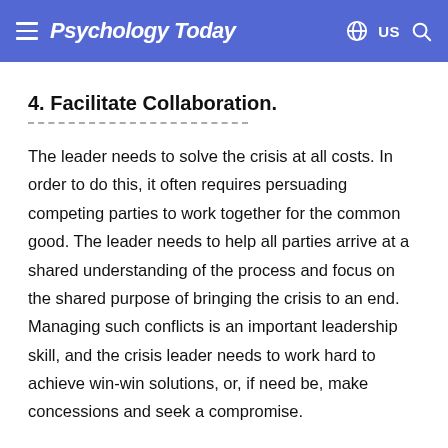Psychology Today
4. Facilitate Collaboration.
The leader needs to solve the crisis at all costs. In order to do this, it often requires persuading competing parties to work together for the common good. The leader needs to help all parties arrive at a shared understanding of the process and focus on the shared purpose of bringing the crisis to an end. Managing such conflicts is an important leadership skill, and the crisis leader needs to work hard to achieve win-win solutions, or, if need be, make concessions and seek a compromise.